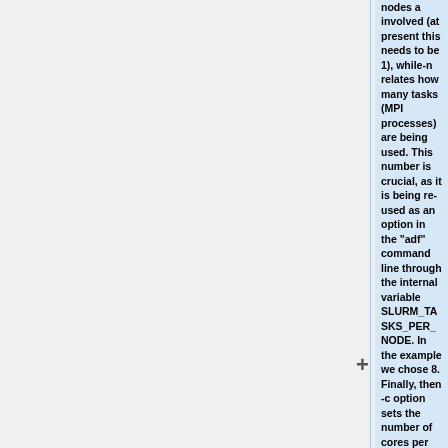nodes a involved (at present this needs to be 1), while-n relates how many tasks (MPI processes) are being used. This number is crucial, as it is being re-used as an option in the "adf" command line through the internal variable SLURM_TASKS_PER_NODE. In the example we chose 8. Finally, then -c option sets the number of cores per